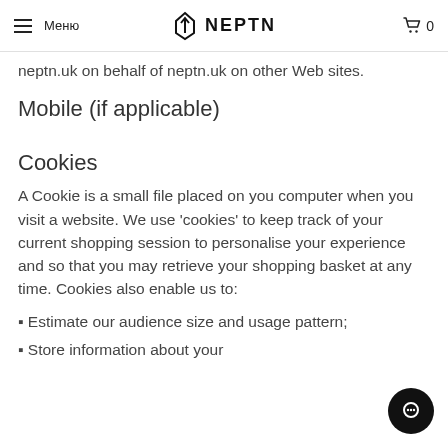Меню | NEPTN | 0
neptn.uk on behalf of neptn.uk on other Web sites.
Mobile (if applicable)
Cookies
A Cookie is a small file placed on you computer when you visit a website. We use 'cookies' to keep track of your current shopping session to personalise your experience and so that you may retrieve your shopping basket at any time. Cookies also enable us to:
▪ Estimate our audience size and usage pattern;
▪ Store information about your